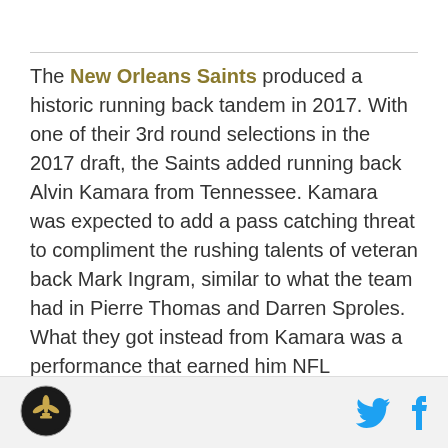The New Orleans Saints produced a historic running back tandem in 2017. With one of their 3rd round selections in the 2017 draft, the Saints added running back Alvin Kamara from Tennessee. Kamara was expected to add a pass catching threat to compliment the rushing talents of veteran back Mark Ingram, similar to what the team had in Pierre Thomas and Darren Sproles. What they got instead from Kamara was a performance that earned him NFL Offensive Rookie of the Year as he put himself in the conversation as one of the league's top offensive weapons. Not to be outdone, Mark Ingram had the best season of his seven year career, and both New
[Figure (logo): New Orleans Saints circular logo in black and gold]
[Figure (other): Twitter bird icon in blue and Facebook f icon in dark blue]